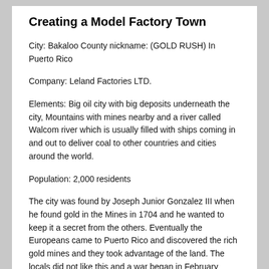Creating a Model Factory Town
City: Bakaloo County nickname: (GOLD RUSH) In Puerto Rico
Company: Leland Factories LTD.
Elements: Big oil city with big deposits underneath the city, Mountains with mines nearby and a river called Walcom river which is usually filled with ships coming in and out to deliver coal to other countries and cities around the world.
Population: 2,000 residents
The city was found by Joseph Junior Gonzalez III when he found gold in the Mines in 1704 and he wanted to keep it a secret from the others. Eventually the Europeans came to Puerto Rico and discovered the rich gold mines and they took advantage of the land. The locals did not like this and a war began in February 1705. The war was big and bloody, but eventually the Europeans won and took over the land. Sadly, Joseph Gonzalez III was killed in the war protecting his land,